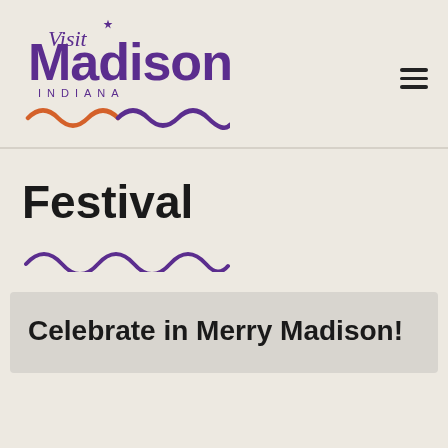[Figure (logo): Visit Madison Indiana logo with cursive 'Visit' text, large 'Madison' text, 'INDIANA' lettering, and decorative wave pattern at bottom in purple and orange]
Festival
[Figure (illustration): Purple decorative wave/scallop divider line]
Celebrate in Merry Madison!